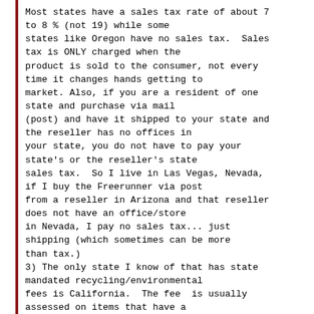Most states have a sales tax rate of about 7 to 8 % (not 19) while some states like Oregon have no sales tax.  Sales tax is ONLY charged when the product is sold to the consumer, not every time it changes hands getting to market. Also, if you are a resident of one state and purchase via mail (post) and have it shipped to your state and the reseller has no offices in your state, you do not have to pay your state's or the reseller's state sales tax.  So I live in Las Vegas, Nevada, if I buy the Freerunner via post from a reseller in Arizona and that reseller does not have an office/store in Nevada, I pay no sales tax... just shipping (which sometimes can be more than tax.)
3) The only state I know of that has state mandated recycling/environmental fees is California.  The fee  is usually assessed on items that have a